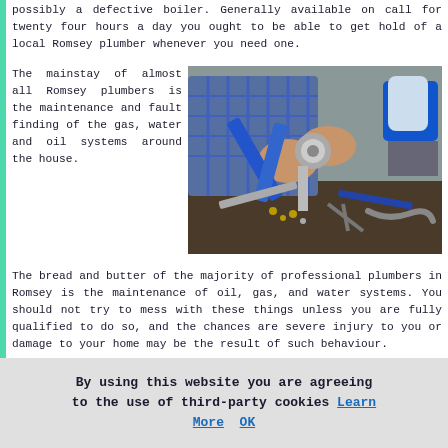possibly a defective boiler. Generally available on call for twenty four hours a day you ought to be able to get hold of a local Romsey plumber whenever you need one.
The mainstay of almost all Romsey plumbers is the maintenance and fault finding of the gas, water and oil systems around the house. The bread and butter of the majority of professional plumbers in Romsey is the maintenance of oil, gas, and water systems. You should not try to mess with these things unless you are fully qualified to do so, and the chances are severe injury to you or damage to your home may be the result of such behaviour.
[Figure (photo): A person using blue pliers/pipe wrench on plumbing fittings/pipe connections on a workbench, with various plumbing tools scattered around including wrenches, hoses, and small metal fittings.]
By using this website you are agreeing to the use of third-party cookies Learn More OK